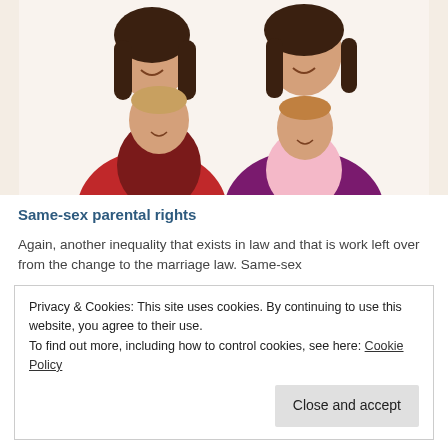[Figure (photo): Two women smiling, each holding a baby. One woman wears a red top, the other wears a purple/magenta top. One baby wears dark red clothing, the other wears a light pink outfit. White studio background.]
Same-sex parental rights
Again, another inequality that exists in law and that is work left over from the change to the marriage law. Same-sex
Privacy & Cookies: This site uses cookies. By continuing to use this website, you agree to their use.
To find out more, including how to control cookies, see here: Cookie Policy
Close and accept